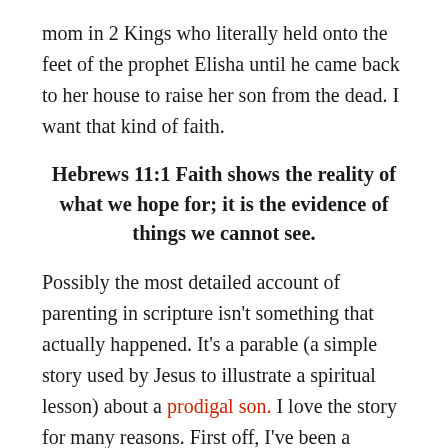mom in 2 Kings who literally held onto the feet of the prophet Elisha until he came back to her house to raise her son from the dead. I want that kind of faith.
Hebrews 11:1 Faith shows the reality of what we hope for; it is the evidence of things we cannot see.
Possibly the most detailed account of parenting in scripture isn't something that actually happened. It's a parable (a simple story used by Jesus to illustrate a spiritual lesson) about a prodigal son. I love the story for many reasons. First off, I've been a prodigal child. I've run from God, made some pretty awful choices, squandered things He's given me, and come crawling back begging for grace. Every. Single. Time… God has